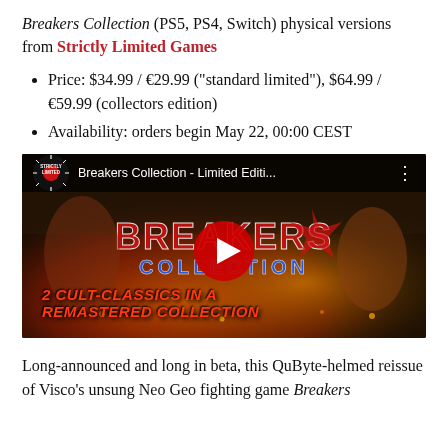Breakers Collection (PS5, PS4, Switch) physical versions from Strictly Limited Games
Price: $34.99 / €29.99 ("standard limited"), $64.99 / €59.99 (collectors edition)
Availability: orders begin May 22, 00:00 CEST
[Figure (screenshot): YouTube video thumbnail for 'Breakers Collection - Limited Editi...' showing anime-style fighting game characters with fire background, BREAKERS COLLECTION logo, and text '2 CULT-CLASSICS IN A REMASTERED COLLECTION'. Red YouTube play button overlay.]
Long-announced and long in beta, this QuByte-helmed reissue of Visco's unsung Neo Geo fighting game Breakers